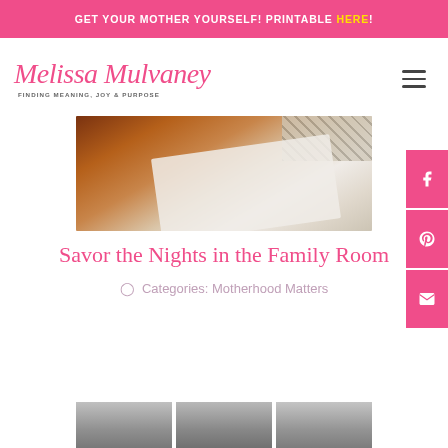GET YOUR MOTHER YOURSELF! PRINTABLE HERE!
[Figure (logo): Melissa Mulvaney cursive script logo with tagline FINDING MEANING, JOY & PURPOSE]
[Figure (photo): Close-up photo of hardwood floor with a light rug corner and a striped fabric item in the top right]
Savor the Nights in the Family Room
Categories: Motherhood Matters
[Figure (photo): Three silver/gray cylindrical objects at the bottom of the page]